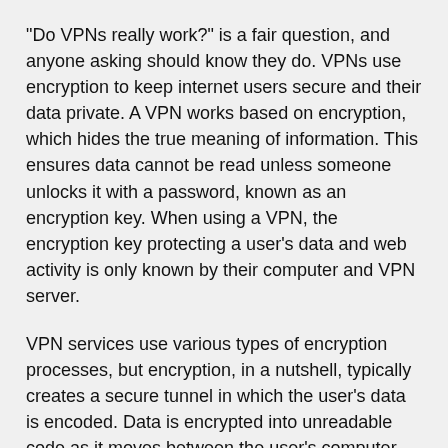"Do VPNs really work?" is a fair question, and anyone asking should know they do. VPNs use encryption to keep internet users secure and their data private. A VPN works based on encryption, which hides the true meaning of information. This ensures data cannot be read unless someone unlocks it with a password, known as an encryption key. When using a VPN, the encryption key protecting a user's data and web activity is only known by their computer and VPN server.
VPN services use various types of encryption processes, but encryption, in a nutshell, typically creates a secure tunnel in which the user's data is encoded. Data is encrypted into unreadable code as it moves between the user's computer and the VPN server. The device connects to the local network the VPN is connected to, which masks the user's IP address as belonging to a server from the VPN provider.
VPN Protocols